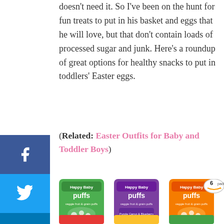doesn't need it. So I've been on the hunt for fun treats to put in his basket and eggs that he will love, but that don't contain loads of processed sugar and junk. Here's a roundup of great options for healthy snacks to put in toddlers' Easter eggs.
(Related: Easter Outfits for Baby and Toddler Boys)
[Figure (photo): Happy Baby Superfood Puffs in multiple flavors — green (spinach), purple (purple carrot & blueberry), orange (carrot), plus additional flavors below. Six-pack badge shown. Social media share buttons on the left sidebar (Facebook, Twitter, LinkedIn, Pinterest, Reddit, Mix, Email).]